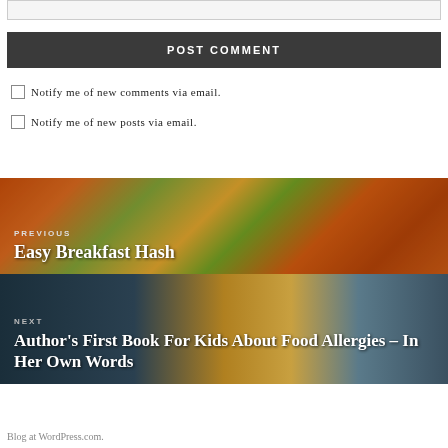POST COMMENT
Notify me of new comments via email.
Notify me of new posts via email.
[Figure (photo): Food photo background showing colorful breakfast hash with vegetables, with navigation link to previous post labeled PREVIOUS: Easy Breakfast Hash]
[Figure (photo): Photo background showing books, ambulance, peanuts, and a child, with navigation link to next post labeled NEXT: Author's First Book For Kids About Food Allergies – In Her Own Words]
Blog at WordPress.com.